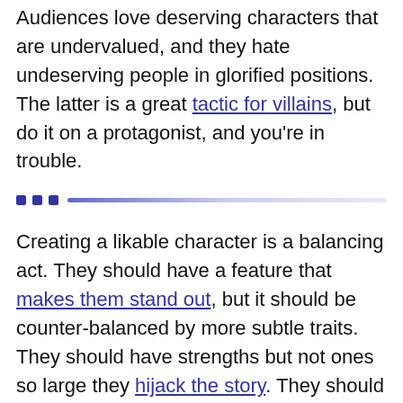Audiences love deserving characters that are undervalued, and they hate undeserving people in glorified positions. The latter is a great tactic for villains, but do it on a protagonist, and you're in trouble.
Creating a likable character is a balancing act. They should have a feature that makes them stand out, but it should be counter-balanced by more subtle traits. They should have strengths but not ones so large they hijack the story. They should have flaws but not so many they become despicable. Throw all their eggs in one basket, and you risk those eggs going rotten.